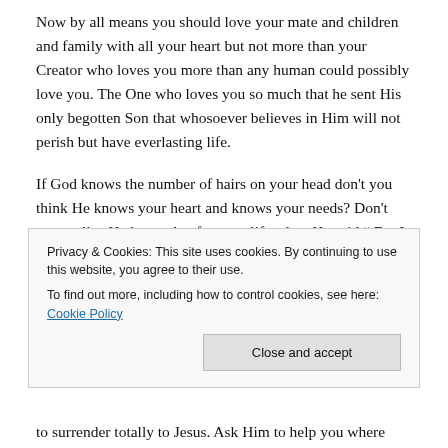Now by all means you should love your mate and children and family with all your heart but not more than your Creator who loves you more than any human could possibly love you. The One who loves you so much that he sent His only begotten Son that whosoever believes in Him will not perish but have everlasting life.
If God knows the number of hairs on your head don't you think He knows your heart and knows your needs? Don't you realize He has a plan for your life when He said “ For I know the plans that I have for you,' declares the LORD,
Privacy & Cookies: This site uses cookies. By continuing to use this website, you agree to their use.
To find out more, including how to control cookies, see here: Cookie Policy
to surrender totally to Jesus. Ask Him to help you where